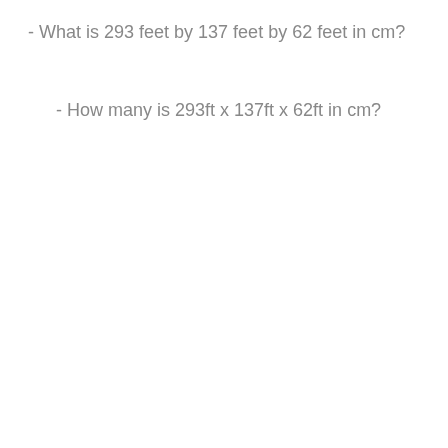- What is 293 feet by 137 feet by 62 feet in cm?
- How many is 293ft x 137ft x 62ft in cm?